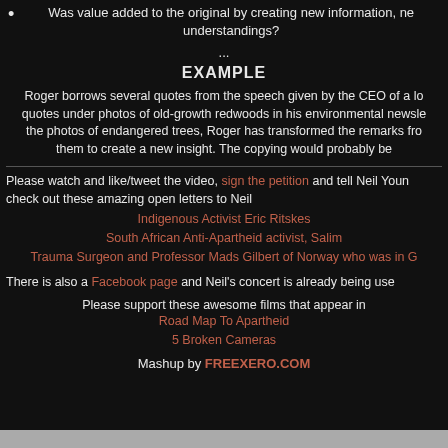Was value added to the original by creating new information, new aesthetics, new insights or new understandings?
...
EXAMPLE
Roger borrows several quotes from the speech given by the CEO of a logging company and places the quotes under photos of old-growth redwoods in his environmental newsletter. By juxtaposing the quotes with the photos of endangered trees, Roger has transformed the remarks from a defense of logging and used them to create a new insight. The copying would probably be considered a fair use.
Please watch and like/tweet the video, sign the petition and tell Neil Young you support him, and check out these amazing open letters to Neil Young from:
Indigenous Activist Eric Ritskes
South African Anti-Apartheid activist, Salim Vally
Trauma Surgeon and Professor Mads Gilbert of Norway who was in Gaza
There is also a Facebook page and Neil's concert is already being used in protest.
Please support these awesome films that appear in the video:
Road Map To Apartheid
5 Broken Cameras
Mashup by FREEXERO.COM